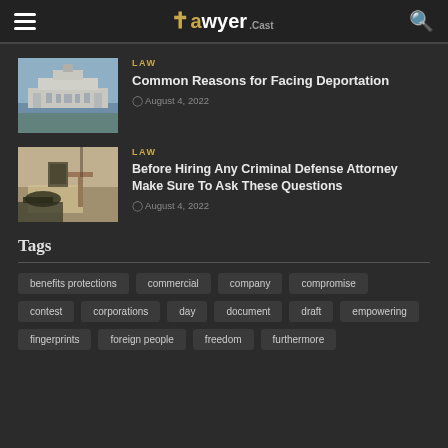LawyerCast
[Figure (photo): White House building photo thumbnail]
LAW
Common Reasons for Facing Deportation
August 4, 2022
[Figure (photo): Lawyer or judge at desk with gavel thumbnail]
LAW
Before Hiring Any Criminal Defense Attorney Make Sure To Ask These Questions
August 4, 2022
Tags
benefits protections
commercial
company
compromise
contest
corporations
day
document
draft
empowering
fingerprints
foreign people
freedom
furthermore